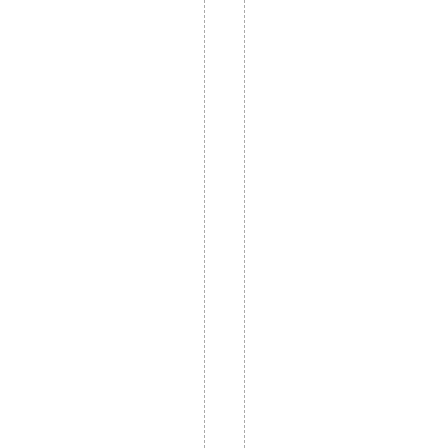port, wisdom of the heart | Cat